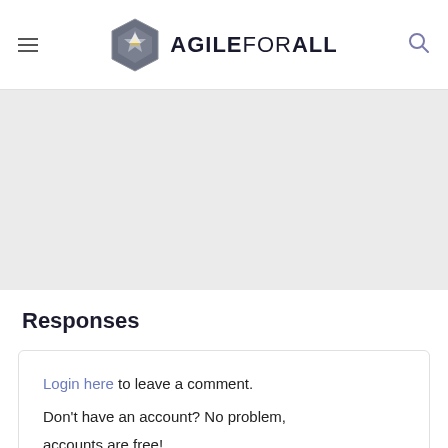AGILE FOR ALL
[Figure (illustration): Gray banner/hero section area below the navigation header]
Responses
Login here to leave a comment. Don't have an account? No problem, accounts are free!